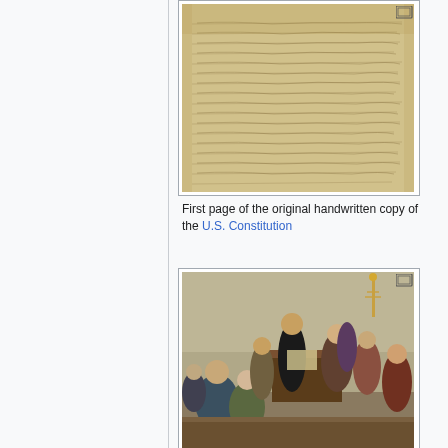[Figure (photo): First page of the original handwritten copy of the U.S. Constitution — aged parchment with cursive text]
First page of the original handwritten copy of the U.S. Constitution
[Figure (illustration): Gouverneur Morris signs the Constitution before George Washington. Madison sits next to him. Historical painting of the Constitutional Convention signing ceremony.]
Gouverneur Morris signs the Constitution before George Washington. Madison sits next to